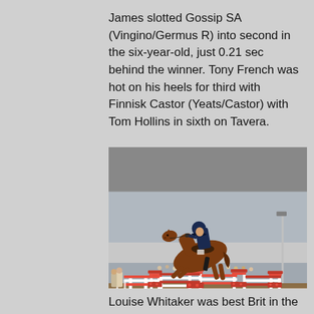James slotted Gossip SA (Vingino/Germus R) into second in the six-year-old, just 0.21 sec behind the winner. Tony French was hot on his heels for third with Finnisk Castor (Yeats/Castor) with Tom Hollins in sixth on Tavera.
[Figure (photo): Equestrian show jumping photograph: a rider on a chestnut horse mid-jump over a colorful red and white fence obstacle. Audience visible in the background. Outdoor arena setting.]
Louise Whitaker was best Brit in the